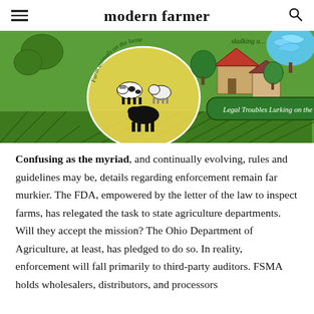modern farmer
[Figure (illustration): Illustrated map-style farm scene on green background with text 'Farm animals on the loose', 'skulking a...', 'Legal Troubles Lurking on the Farm', showing cows, sheep, horse, farm buildings, fields, trees, and a blue windswept tree in the upper right corner.]
Confusing as the myriad, and continually evolving, rules and guidelines may be, details regarding enforcement remain far murkier. The FDA, empowered by the letter of the law to inspect farms, has relegated the task to state agriculture departments. Will they accept the mission? The Ohio Department of Agriculture, at least, has pledged to do so. In reality, enforcement will fall primarily to third-party auditors. FSMA holds wholesalers, distributors, and processors